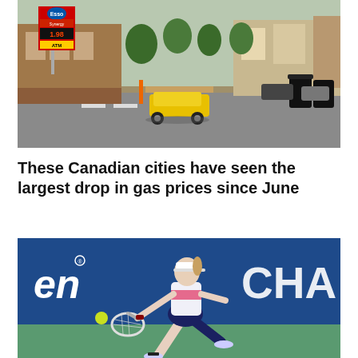[Figure (photo): Street scene with a yellow sports car (Corvette) at an intersection near an Esso gas station with price sign showing high fuel prices, suburban storefronts in background]
These Canadian cities have seen the largest drop in gas prices since June
[Figure (photo): Female tennis player in white visor, white and navy outfit, lunging forward to hit a tennis ball with racket on an outdoor court, with blue sponsor banner reading 'CHA' in background]